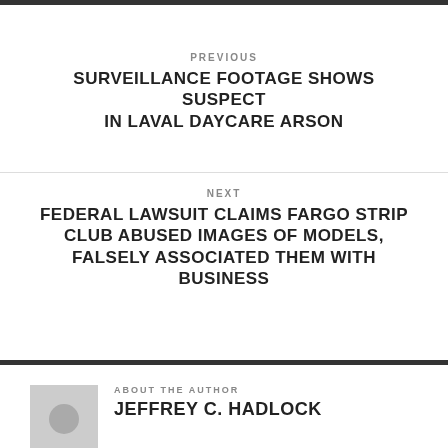PREVIOUS
SURVEILLANCE FOOTAGE SHOWS SUSPECT IN LAVAL DAYCARE ARSON
NEXT
FEDERAL LAWSUIT CLAIMS FARGO STRIP CLUB ABUSED IMAGES OF MODELS, FALSELY ASSOCIATED THEM WITH BUSINESS
ABOUT THE AUTHOR
JEFFREY C. HADLOCK